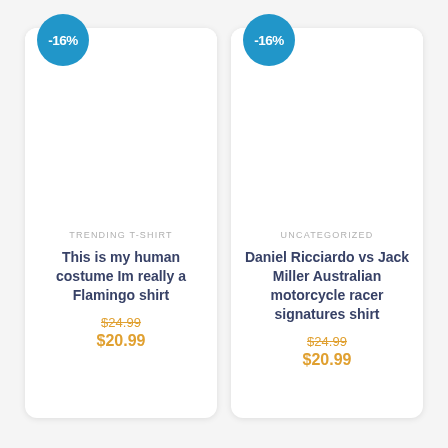[Figure (other): Product card with -16% badge, blank image area, category label TRENDING T-SHIRT, product title, old and new price]
TRENDING T-SHIRT
This is my human costume Im really a Flamingo shirt
$24.99
$20.99
[Figure (other): Product card with -16% badge, blank image area, category label UNCATEGORIZED, product title, old and new price]
UNCATEGORIZED
Daniel Ricciardo vs Jack Miller Australian motorcycle racer signatures shirt
$24.99
$20.99